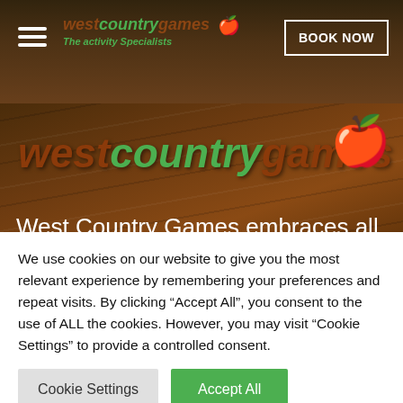[Figure (screenshot): West Country Games website header navigation bar with hamburger menu, logo, and BOOK NOW button]
[Figure (screenshot): West Country Games hero section with large logo on wood-grain background and partial text about the activity]
We use cookies on our website to give you the most relevant experience by remembering your preferences and repeat visits. By clicking “Accept All”, you consent to the use of ALL the cookies. However, you may visit "Cookie Settings" to provide a controlled consent.
Cookie Settings
Accept All